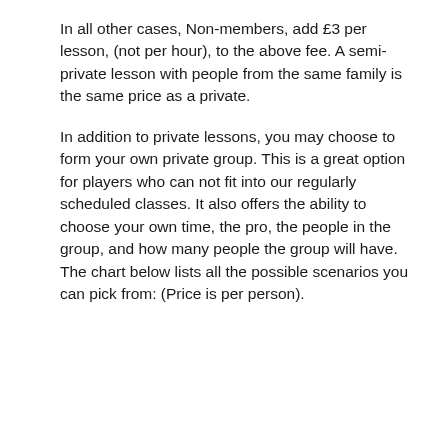In all other cases, Non-members, add £3 per lesson, (not per hour), to the above fee. A semi-private lesson with people from the same family is the same price as a private.
In addition to private lessons, you may choose to form your own private group. This is a great option for players who can not fit into our regularly scheduled classes. It also offers the ability to choose your own time, the pro, the people in the group, and how many people the group will have. The chart below lists all the possible scenarios you can pick from: (Price is per person).